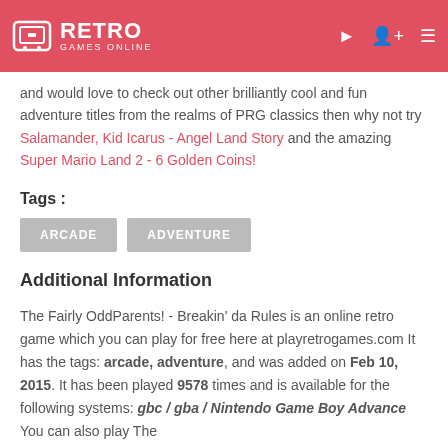RETRO GAMES ONLINE
and would love to check out other brilliantly cool and fun adventure titles from the realms of PRG classics then why not try Salamander, Kid Icarus - Angel Land Story and the amazing Super Mario Land 2 - 6 Golden Coins!
Tags :
ARCADE
ADVENTURE
Additional Information
The Fairly OddParents! - Breakin' da Rules is an online retro game which you can play for free here at playretrogames.com It has the tags: arcade, adventure, and was added on Feb 10, 2015. It has been played 9578 times and is available for the following systems: gbc / gba / Nintendo Game Boy Advance You can also play The